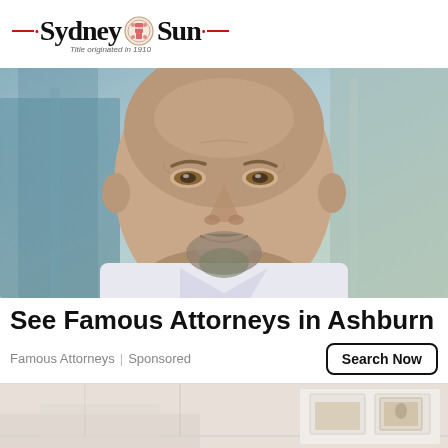Sydney Sun — Title originated in 1910
[Figure (photo): Close-up portrait of a middle-aged bald man with a goatee, wearing a white shirt, looking directly at camera with a serious expression. Blurred urban background.]
See Famous Attorneys in Ashburn
Famous Attorneys | Sponsored
[Figure (photo): Partial view of a light-colored room interior with shelving and artwork visible.]